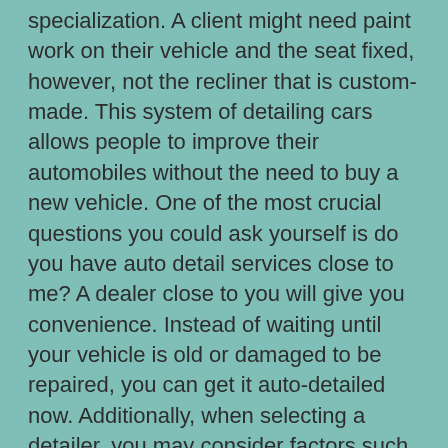specialization. A client might need paint work on their vehicle and the seat fixed, however, not the recliner that is custom-made. This system of detailing cars allows people to improve their automobiles without the need to buy a new vehicle. One of the most crucial questions you could ask yourself is do you have auto detail services close to me? A dealer close to you will give you convenience. Instead of waiting until your vehicle is old or damaged to be repaired, you can get it auto-detailed now. Additionally, when selecting a detailer, you may consider factors such as how you clean your car, the frequency you utilize your car, and where you keep your car. You may also need to consider facts such as the time frame you're planning to remain with your car or even if you plan to trade it in in the future. Whatever the case may be you may discuss your options with an expert in car detailing for